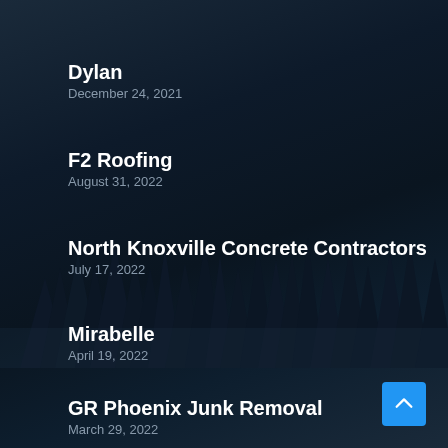Dylan
December 24, 2021
F2 Roofing
August 31, 2022
North Knoxville Concrete Contractors
July 17, 2022
Mirabelle
April 19, 2022
GR Phoenix Junk Removal
March 29, 2022